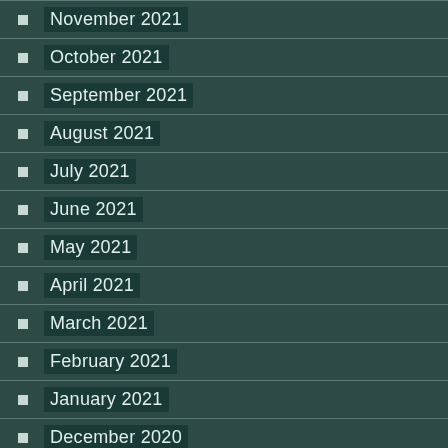November 2021
October 2021
September 2021
August 2021
July 2021
June 2021
May 2021
April 2021
March 2021
February 2021
January 2021
December 2020
November 2020